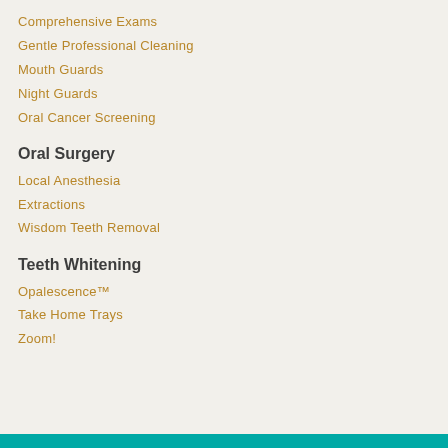Comprehensive Exams
Gentle Professional Cleaning
Mouth Guards
Night Guards
Oral Cancer Screening
Oral Surgery
Local Anesthesia
Extractions
Wisdom Teeth Removal
Teeth Whitening
Opalescence™
Take Home Trays
Zoom!